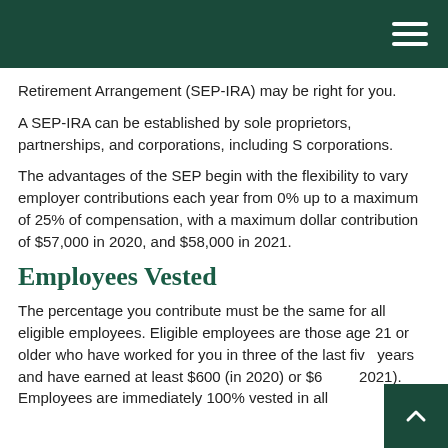Retirement Arrangement (SEP-IRA) may be right for you.
A SEP-IRA can be established by sole proprietors, partnerships, and corporations, including S corporations.
The advantages of the SEP begin with the flexibility to vary employer contributions each year from 0% up to a maximum of 25% of compensation, with a maximum dollar contribution of $57,000 in 2020, and $58,000 in 2021.
Employees Vested
The percentage you contribute must be the same for all eligible employees. Eligible employees are those age 21 or older who have worked for you in three of the last five years and have earned at least $600 (in 2020) or $6… 2021). Employees are immediately 100% vested in all